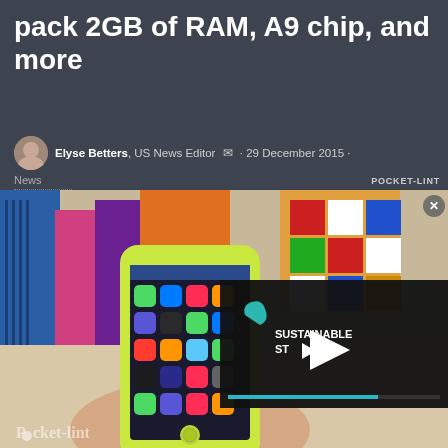pack 2GB of RAM, A9 chip, and more
Elyse Betters, US News Editor · 29 December 2015 · News
[Figure (photo): Hand holding a green iPhone 5c showing the home screen with app icons, colorful books and objects in background. Overlaid video player panel showing 'SUSTAINABLE STREAM' logo with play button and teal progress bar.]
Pocket-lint